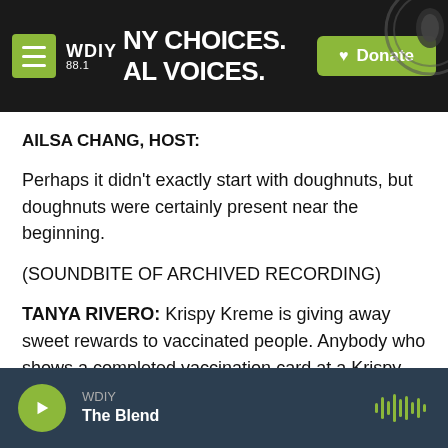WDIY 88.1 — NY CHOICES. AL VOICES. — Donate
AILSA CHANG, HOST:
Perhaps it didn't exactly start with doughnuts, but doughnuts were certainly present near the beginning.
(SOUNDBITE OF ARCHIVED RECORDING)
TANYA RIVERO: Krispy Kreme is giving away sweet rewards to vaccinated people. Anybody who shows a completed vaccination card at a Krispy Kreme location can get a free glazed doughnut.
WDIY — The Blend